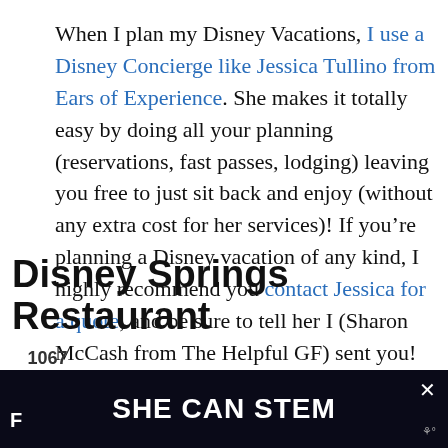When I plan my Disney Vacations, I use a Disney Concierge like Jessica Tullino from Ears of Experience. She makes it totally easy by doing all your planning (reservations, fast passes, lodging) leaving you free to just sit back and enjoy (without any extra cost for her services)! If you're planning a Disney vacation of any kind, I highly recommend you contact Jessica for a quote, and be sure to tell her I (Sharon McCash from The Helpful GF) sent you!
[Figure (screenshot): Social media sharing sidebar with Facebook (394 shares), Pinterest (673 pins), and Yummly buttons, plus share count of 1067 shares]
[Figure (screenshot): Heart/like widget showing 1.1K likes and a share button on the right side]
[Figure (screenshot): What's Next widget showing HOW TO EAT GLUTEN-... article thumbnail]
Disney Springs Restaurant
[Figure (screenshot): Bottom ad bar with SHE CAN STEM text on dark background]